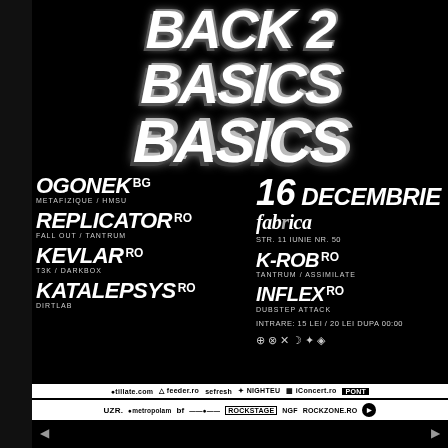BACK 2 BASICS BASICS BASICS
OGONEK BG
METAFIZIQUE / HMSU
16 DECEMBRIE
fabrica
STR. 11 IUNIE NR. 50
REPLICATOR RO
FALL OUT / TANTRUM
K-ROB RO
TANTRUM / ASSIMILATE
KEVLAR RO
T3K / DARKBOX
INFLEX RO
DUBSTEP ATTACK
KATALEPSYS RO
DIRTLAB
INTRARE: 15 LEI / 20 LEI DUPA 00:00
tillate.com feeder.ro sefresh NIGHTEU iConcert.ro PONT
UZR. metropolam bf ROCKSTAGE NGF ROCKZONE.RO